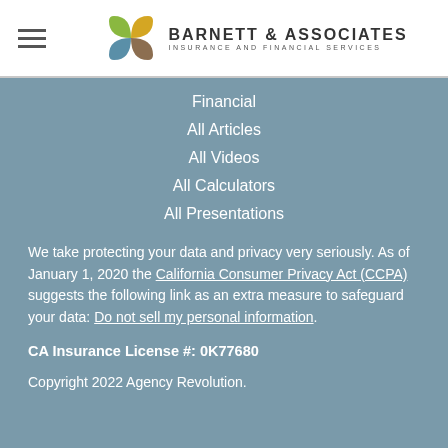Barnett & Associates Insurance and Financial Services
Financial
All Articles
All Videos
All Calculators
All Presentations
We take protecting your data and privacy very seriously. As of January 1, 2020 the California Consumer Privacy Act (CCPA) suggests the following link as an extra measure to safeguard your data: Do not sell my personal information.
CA Insurance License #: 0K77680
Copyright 2022 Agency Revolution.